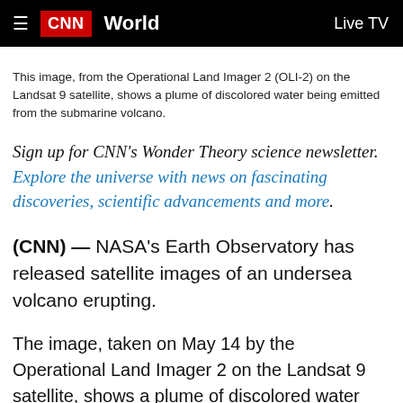CNN  World  Live TV
This image, from the Operational Land Imager 2 (OLI-2) on the Landsat 9 satellite, shows a plume of discolored water being emitted from the submarine volcano.
Sign up for CNN's Wonder Theory science newsletter. Explore the universe with news on fascinating discoveries, scientific advancements and more.
(CNN) — NASA's Earth Observatory has released satellite images of an undersea volcano erupting.
The image, taken on May 14 by the Operational Land Imager 2 on the Landsat 9 satellite, shows a plume of discolored water being emitted from the submarine volcano. The satellite is designed to